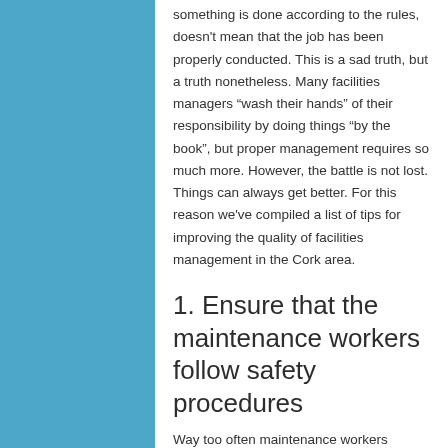something is done according to the rules, doesn't mean that the job has been properly conducted. This is a sad truth, but a truth nonetheless. Many facilities managers “wash their hands” of their responsibility by doing things “by the book”, but proper management requires so much more. However, the battle is not lost. Things can always get better. For this reason we've compiled a list of tips for improving the quality of facilities management in the Cork area.
1. Ensure that the maintenance workers follow safety procedures
Way too often maintenance workers decide